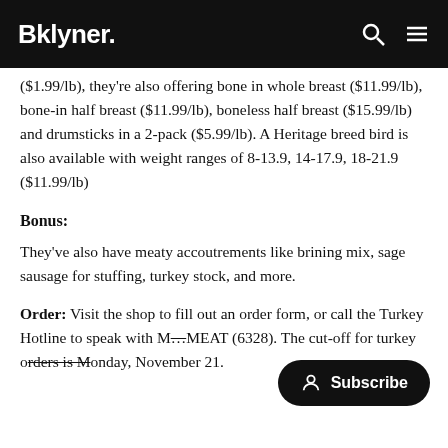Bklyner.
($1.99/lb), they're also offering bone in whole breast ($11.99/lb), bone-in half breast ($11.99/lb), boneless half breast ($15.99/lb) and drumsticks in a 2-pack ($5.99/lb). A Heritage breed bird is also available with weight ranges of 8-13.9, 14-17.9, 18-21.9 ($11.99/lb)
Bonus:
They've also have meaty accoutrements like brining mix, sage sausage for stuffing, turkey stock, and more.
Order: Visit the shop to fill out an order form, or call the Turkey Hotline to speak with M… MEAT (6328). The cut-off for turkey orders is Monday, November 21.